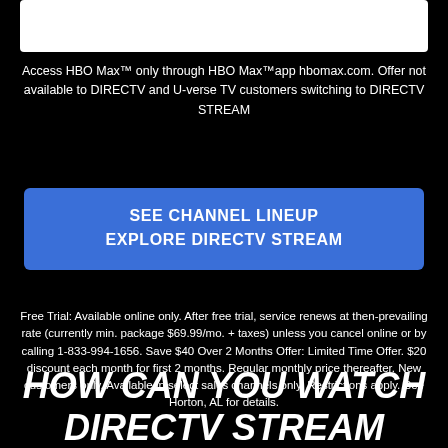[Figure (other): White box at top of page (partial UI element)]
Access HBO Max™ only through HBO Max™app hbomax.com. Offer not available to DIRECTV and U-verse TV customers switching to DIRECTV STREAM
SEE CHANNEL LINEUP
EXPLORE DIRECTV STREAM
Free Trial: Available online only. After free trial, service renews at then-prevailing rate (currently min. package $69.99/mo. + taxes) unless you cancel online or by calling 1-833-994-1656. Save $40 Over 2 Months Offer: Limited Time Offer. $20 discount each month for first 2 months. Regular monthly price thereafter. New customers only. Available in select sales channels only. Restrictions apply. See Horton, AL for details.
HOW CAN YOU WATCH DIRECTV STREAM